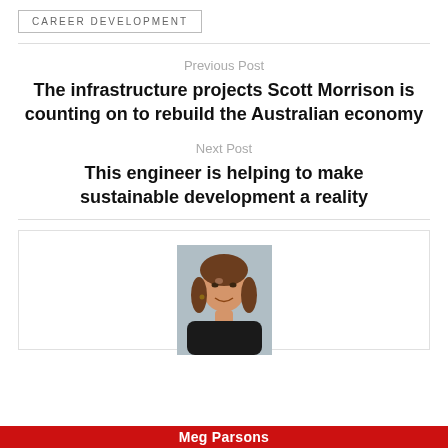CAREER DEVELOPMENT
Previous Post
The infrastructure projects Scott Morrison is counting on to rebuild the Australian economy
Next Post
This engineer is helping to make sustainable development a reality
[Figure (photo): Headshot of a smiling woman with brown hair, wearing a black top, photographed against a blurred background.]
Meg Parsons